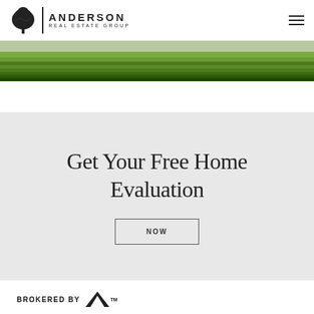[Figure (logo): Anderson Real Estate Group logo with tree icon, vertical divider, and text ANDERSON REAL ESTATE GROUP]
[Figure (photo): Grass/lawn strip image across the top of the page]
Get Your Free Home Evaluation
NOW
BROKERED BY